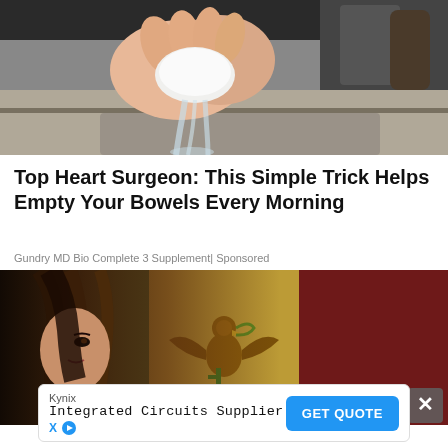[Figure (photo): Hands squeezing a white cloth or sponge with water flowing, over a sink background]
Top Heart Surgeon: This Simple Trick Helps Empty Your Bowels Every Morning
Gundry MD Bio Complete 3 Supplement | Sponsored
[Figure (photo): Woman with dark hair in front of a Mexican flag background with eagle emblem, with a close (X) button in bottom right]
[Figure (other): Kynix Integrated Circuits Supplier advertisement banner with GET QUOTE button]